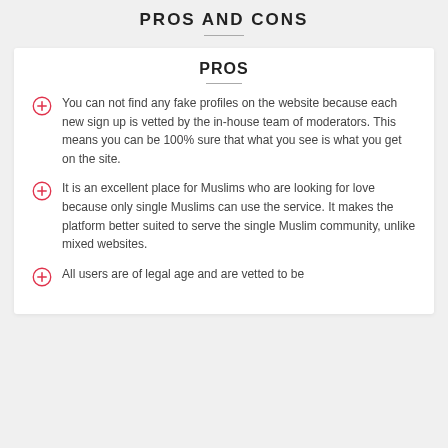PROS AND CONS
PROS
You can not find any fake profiles on the website because each new sign up is vetted by the in-house team of moderators. This means you can be 100% sure that what you see is what you get on the site.
It is an excellent place for Muslims who are looking for love because only single Muslims can use the service. It makes the platform better suited to serve the single Muslim community, unlike mixed websites.
All users are of legal age and are vetted to be